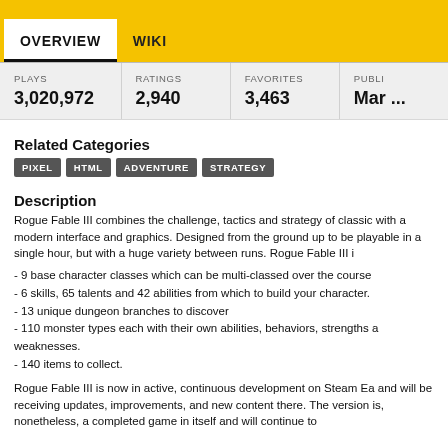OVERVIEW   WIKI
| PLAYS | RATINGS | FAVORITES | PUBLI... |
| --- | --- | --- | --- |
| 3,020,972 | 2,940 | 3,463 | Mar ... |
Related Categories
PIXEL
HTML
ADVENTURE
STRATEGY
Description
Rogue Fable III combines the challenge, tactics and strategy of classic with a modern interface and graphics. Designed from the ground up to be playable in a single hour, but with a huge variety between runs. Rogue Fable III i...
- 9 base character classes which can be multi-classed over the course of...
- 6 skills, 65 talents and 42 abilities from which to build your character.
- 13 unique dungeon branches to discover
- 110 monster types each with their own abilities, behaviors, strengths and weaknesses.
- 140 items to collect.
Rogue Fable III is now in active, continuous development on Steam Early Access and will be receiving updates, improvements, and new content there. The current version is, nonetheless, a completed game in itself and will continue to...